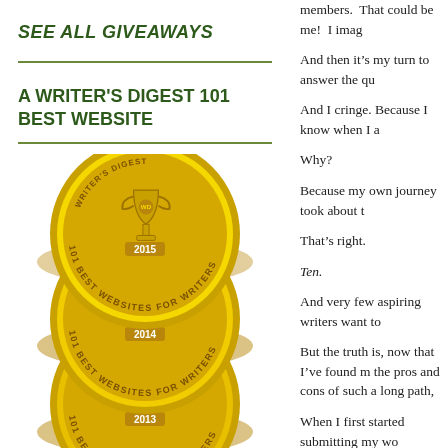members.  That could be me!  I imaging
SEE ALL GIVEAWAYS
And then it's my turn to answer the qu
And I cringe. Because I know when I a
Why?
Because my own journey took about t
That's right.
Ten.
And very few aspiring writers want to
But the truth is, now that I've found m the pros and cons of such a long path,
When I first started submitting my wo Facebook. Twitter didn't even exist! A
In the years it took me to work on my started a blog. I joined online writing grow. I cheered for their first sales and downs of not getting your book picked even stood for). I learned what to hope
A WRITER'S DIGEST 101 BEST WEBSITE
[Figure (illustration): Three stacked gold medallions from Writer's Digest — '101 Best Websites for Writers' awards for years 2015, 2014, and 2013, each featuring a trophy icon.]
Follow Us on Twitter!